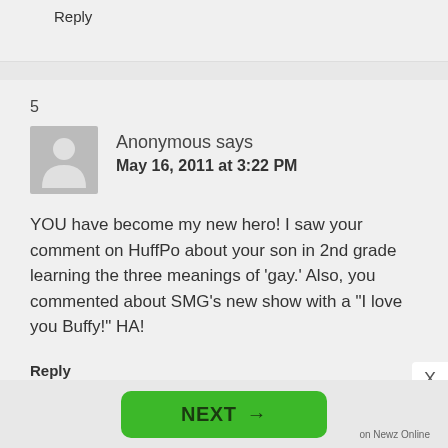Reply
5
Anonymous says
May 16, 2011 at 3:22 PM
YOU have become my new hero! I saw your comment on HuffPo about your son in 2nd grade learning the three meanings of 'gay.' Also, you commented about SMG's new show with a "I love you Buffy!" HA!
Reply
NEXT →
on Newz Online